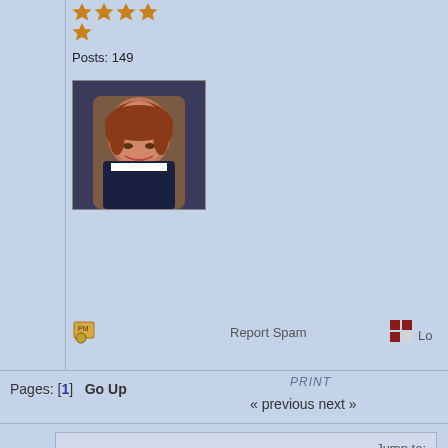Posts: 149
[Figure (photo): Avatar photo of a young woman with red/auburn hair, wearing what appears to be a school uniform, smiling at camera]
Report Spam
Lo
Pages: [1]  Go Up
PRINT
« previous next »
Jump to: => Fantasy Fiction  go